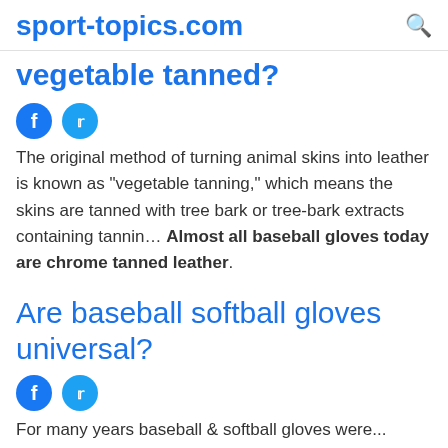sport-topics.com
vegetable tanned?
[Figure (other): Facebook and Twitter social share icons]
The original method of turning animal skins into leather is known as "vegetable tanning," which means the skins are tanned with tree bark or tree-bark extracts containing tannin… Almost all baseball gloves today are chrome tanned leather.
Are baseball softball gloves universal?
[Figure (other): Facebook and Twitter social share icons]
For many years baseball & softball gloves were...